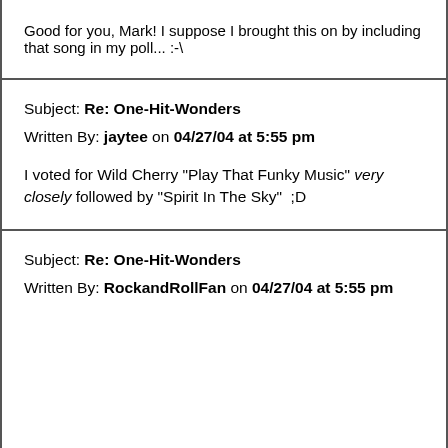Good for you, Mark!  I suppose I brought this on by including that song in my poll... :-\
Subject: Re: One-Hit-Wonders
Written By: jaytee on 04/27/04 at 5:55 pm

I voted for Wild Cherry "Play That Funky Music" very closely followed by "Spirit In The Sky"  ;D
Subject: Re: One-Hit-Wonders
Written By: RockandRollFan on 04/27/04 at 5:55 pm